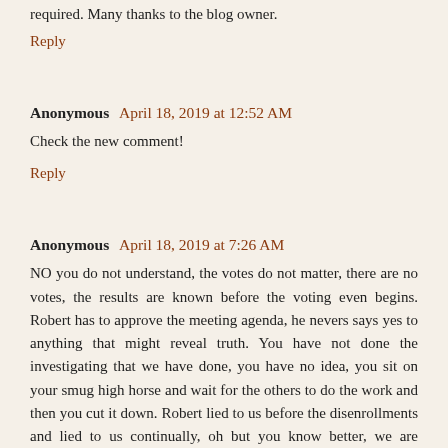required. Many thanks to the blog owner.
Reply
Anonymous  April 18, 2019 at 12:52 AM
Check the new comment!
Reply
Anonymous  April 18, 2019 at 7:26 AM
NO you do not understand, the votes do not matter, there are no votes, the results are known before the voting even begins. Robert has to approve the meeting agenda, he nevers says yes to anything that might reveal truth. You have not done the investigating that we have done, you have no idea, you sit on your smug high horse and wait for the others to do the work and then you cut it down. Robert lied to us before the disenrollments and lied to us continually, oh but you know better, we are wrong, he never lied and the EC never and anything to us or to Pala members. SO why is your per-capita lower, shouldn't it have gone way up after the disenrollments? Weren't we at $11,000? Now